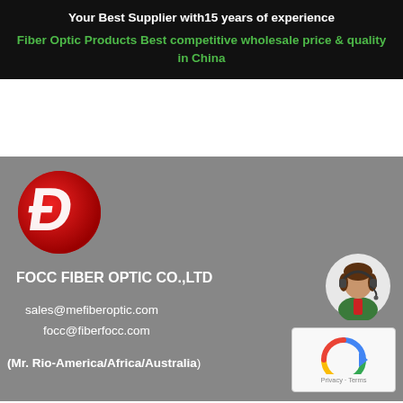Your Best Supplier with15 years of experience
Fiber Optic Products Best competitive wholesale price & quality in China
[Figure (logo): FOCC Fiber Optic red circle logo with stylized P/D letter mark]
FOCC FIBER OPTIC CO.,LTD
sales@mefiberoptic.com
focc@fiberfocc.com
(Mr. Rio-America/Africa/Australia)
[Figure (illustration): Customer service avatar icon - woman with headset]
[Figure (logo): Google reCAPTCHA logo with Privacy - Terms text]